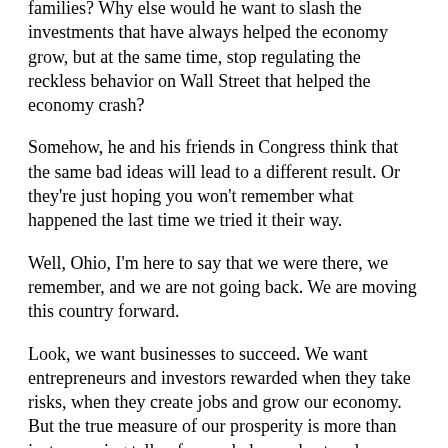his own taxes while raising them on 18 million working families? Why else would he want to slash the investments that have always helped the economy grow, but at the same time, stop regulating the reckless behavior on Wall Street that helped the economy crash?
Somehow, he and his friends in Congress think that the same bad ideas will lead to a different result. Or they're just hoping you won't remember what happened the last time we tried it their way.
Well, Ohio, I'm here to say that we were there, we remember, and we are not going back. We are moving this country forward.
Look, we want businesses to succeed. We want entrepreneurs and investors rewarded when they take risks, when they create jobs and grow our economy. But the true measure of our prosperity is more than just a running tally of every balance sheet and quarterly profit report. I don't care how many ways you try to explain it: Corporations aren't people. People are people.